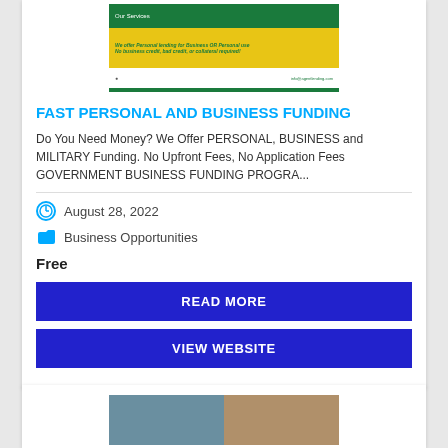[Figure (screenshot): Thumbnail image showing a green and yellow banner for a personal lending service with text about business/personal funding and an email address]
FAST PERSONAL AND BUSINESS FUNDING
Do You Need Money? We Offer PERSONAL, BUSINESS and MILITARY Funding. No Upfront Fees, No Application Fees GOVERNMENT BUSINESS FUNDING PROGRA...
August 28, 2022
Business Opportunities
Free
READ MORE
VIEW WEBSITE
[Figure (photo): Partially visible card at bottom showing two person photos side by side]